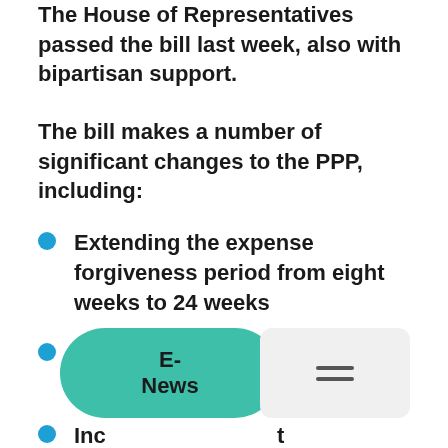The House of Representatives passed the bill last week, also with bipartisan support.
The bill makes a number of significant changes to the PPP, including:
Extending the expense forgiveness period from eight weeks to 24 weeks
Reducing the payroll ratio requirement to 60 percent
Inc[reasing the repaymen]t perio[d from two to fi]ve years, on new loans